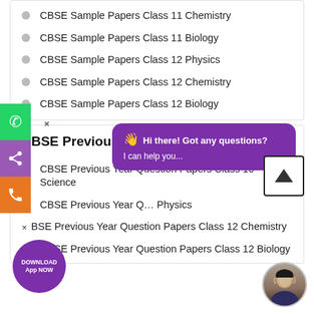CBSE Sample Papers Class 11 Chemistry
CBSE Sample Papers Class 11 Biology
CBSE Sample Papers Class 12 Physics
CBSE Sample Papers Class 12 Chemistry
CBSE Sample Papers Class 12 Biology
CBSE Previous Year Question Papers
CBSE Previous Year Question Papers Class 10 Science
CBSE Previous Year Question Papers Class 11 Physics
CBSE Previous Year Question Papers Class 12 Chemistry
CBSE Previous Year Question Papers Class 12 Biology